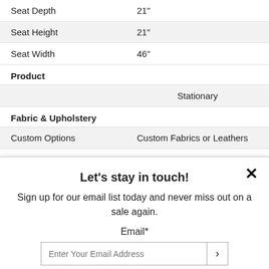| Attribute | Value |
| --- | --- |
| Seat Depth | 21" |
| Seat Height | 21" |
| Seat Width | 46" |
Product
|  | Stationary |
Fabric & Upholstery
| Custom Options | Custom Fabrics or Leathers |
| Fabric Options | Available in a variety of upholstery |
Let's stay in touch!
Sign up for our email list today and never miss out on a sale again.
Email*
Enter Your Email Address
See store for details.